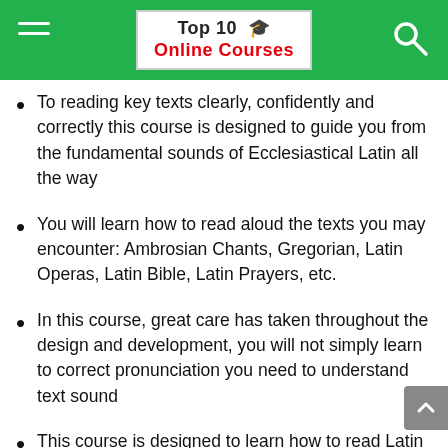Top 10 🎓 Online Courses
To reading key texts clearly, confidently and correctly this course is designed to guide you from the fundamental sounds of Ecclesiastical Latin all the way
You will learn how to read aloud the texts you may encounter: Ambrosian Chants, Gregorian, Latin Operas, Latin Bible, Latin Prayers, etc.
In this course, great care has taken throughout the design and development, you will not simply learn to correct pronunciation you need to understand text sound
This course is designed to learn how to read Latin text in an authentic voice, If you are a student of